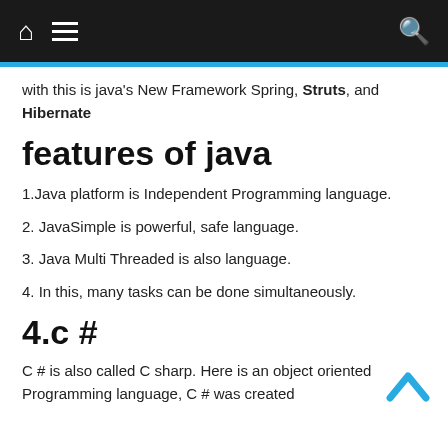Navigation bar with home, menu, and search icons
with this is java's New Framework Spring, Struts, and Hibernate
features of java
1.Java platform is Independent Programming language.
2. JavaSimple is powerful, safe language.
3. Java Multi Threaded is also language.
4. In this, many tasks can be done simultaneously.
4.c #
C # is also called C sharp. Here is an object oriented Programming language, C # was created